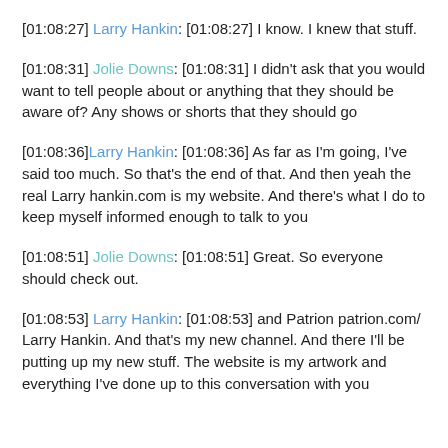[01:08:27] Larry Hankin: [01:08:27] I know. I knew that stuff.
[01:08:31] Jolie Downs: [01:08:31] I didn't ask that you would want to tell people about or anything that they should be aware of? Any shows or shorts that they should go
[01:08:36] Larry Hankin: [01:08:36] As far as I'm going, I've said too much. So that's the end of that. And then yeah the real Larry hankin.com is my website. And there's what I do to keep myself informed enough to talk to you
[01:08:51] Jolie Downs: [01:08:51] Great. So everyone should check out.
[01:08:53] Larry Hankin: [01:08:53] and Patrion patrion.com/ Larry Hankin. And that's my new channel. And there I'll be putting up my new stuff. The website is my artwork and everything I've done up to this conversation with you